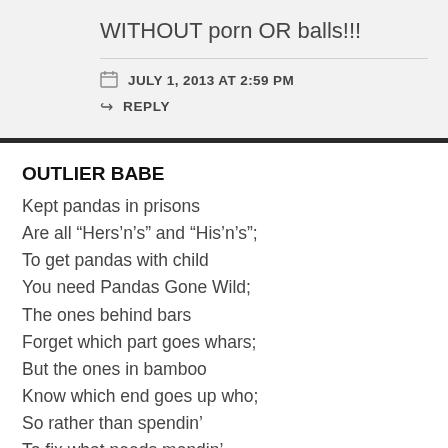WITHOUT porn OR balls!!!
JULY 1, 2013 AT 2:59 PM
REPLY
OUTLIER BABE
Kept pandas in prisons
Are all “Hers’n’s” and “His’n’s”;
To get pandas with child
You need Pandas Gone Wild;
The ones behind bars
Forget which part goes whars;
But the ones in bamboo
Know which end goes up who;
So rather than spendin’
To fix what needs mendin’,